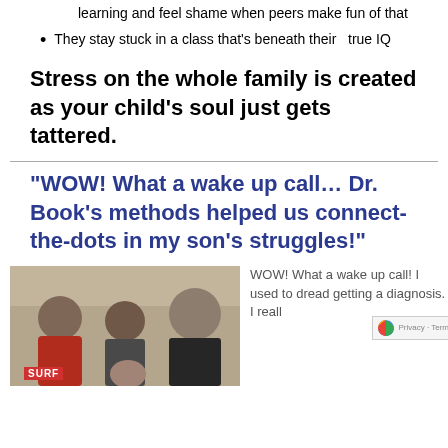learning and feel shame when peers make fun of that
They stay stuck in a class that's beneath their true IQ
Stress on the whole family is created as your child's soul just gets tattered.
“WOW! What a wake up call… Dr. Book’s methods helped us connect-the-dots in my son’s struggles!”
[Figure (photo): Family photo showing four people smiling, including a man, woman, and two girls, one wearing a red shirt with 'SURF' text]
WOW! What a wake up call! I used to dread getting a diagnosis. I reall